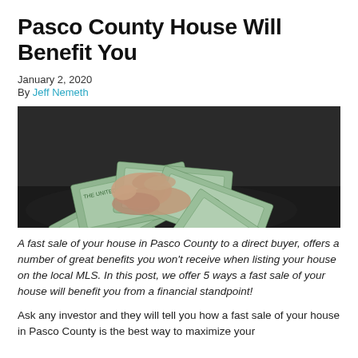Pasco County House Will Benefit You
January 2, 2020
By Jeff Nemeth
[Figure (photo): Hands fanning out a spread of US $100 dollar bills on a dark surface]
A fast sale of your house in Pasco County to a direct buyer, offers a number of great benefits you won't receive when listing your house on the local MLS. In this post, we offer 5 ways a fast sale of your house will benefit you from a financial standpoint!
Ask any investor and they will tell you how a fast sale of your house in Pasco County is the best way to maximize your